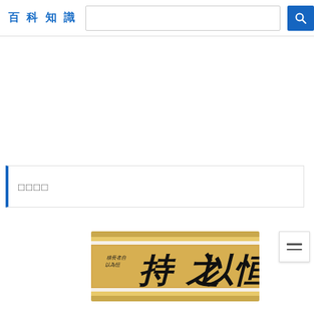百科知識
□□□□
[Figure (photo): A Chinese calligraphy scroll showing the characters 持之以恒 (perseverance) written in cursive brush style on aged golden paper, mounted with golden brocade borders and white silk bands.]